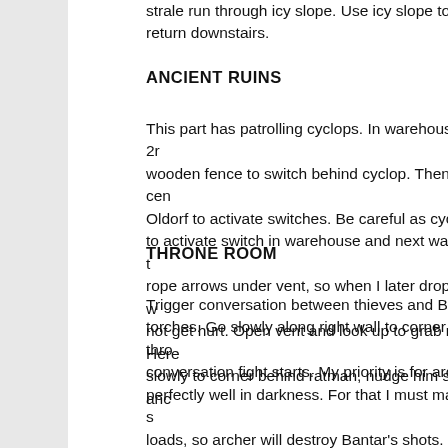strale run through icy slope. Use icy slope to avoid fy return downstairs.
ANCIENT RUINS
This part has patrolling cyclops. In warehouse open 2r wooden fence to switch behind cyclop. Then go to cen Oldorf to activate switches. Be careful as cyclops can to activate switch in warehouse and next water arrow t rope arrows under vent, so when I later drop down, I w not get hurt. Open vent and look up to grab rope. Here slowly to corner behind ratman, nudge him slightly anc
THRONE ROOM
Trigger conversation between thieves and Bantar and torches. Go slowly along right wall to corner under thro conversation fight starts. My priority is for archer to kill perfectly well in darkness. For that I must manipulate s loads, so archer will destroy Bantar's shots. Unlike kla down and wisp joins the fight and after Bantar's death, by archer. Because of that wisp will fly randomly, it isn't mode). Bantar's death trigger 2 ratmen and caveman t